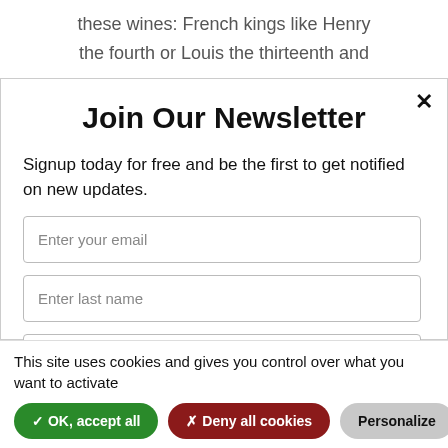these wines: French kings like Henry the fourth or Louis the thirteenth and
Join Our Newsletter
Signup today for free and be the first to get notified on new updates.
Enter your email
Enter last name
Enter first name
This site uses cookies and gives you control over what you want to activate
✓ OK, accept all
✗ Deny all cookies
Personalize